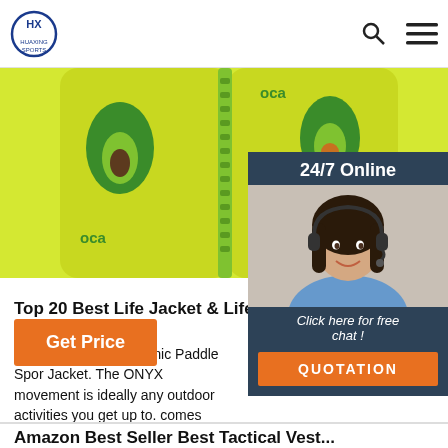HUAXING SPORTS
[Figure (photo): Yellow avocado-patterned life jacket/swim vest with green zipper]
[Figure (photo): 24/7 Online chat widget with woman wearing headset, Click here for free chat, QUOTATION button]
Top 20 Best Life Jacket & Life Vests in [Tested ...
Onyx MoveVent Dynamic Paddle Sport Life Jacket. The ONYX movement is ideally any outdoor activities you get up to. comes with mesh at the back in case y high back seats, which can cause disco an added safety measure, the ...
Get Price
[Figure (illustration): TOP navigation button with orange dots arrow up design]
Amazon Best Seller Best Tactical Vest...